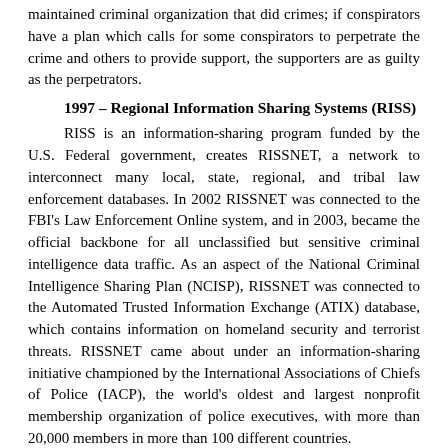maintained criminal organization that did crimes; if conspirators have a plan which calls for some conspirators to perpetrate the crime and others to provide support, the supporters are as guilty as the perpetrators.
1997 – Regional Information Sharing Systems (RISS)
RISS is an information-sharing program funded by the U.S. Federal government, creates RISSNET, a network to interconnect many local, state, regional, and tribal law enforcement databases. In 2002 RISSNET was connected to the FBI's Law Enforcement Online system, and in 2003, became the official backbone for all unclassified but sensitive criminal intelligence data traffic. As an aspect of the National Criminal Intelligence Sharing Plan (NCISP), RISSNET was connected to the Automated Trusted Information Exchange (ATIX) database, which contains information on homeland security and terrorist threats. RISSNET came about under an information-sharing initiative championed by the International Associations of Chiefs of Police (IACP), the world's oldest and largest nonprofit membership organization of police executives, with more than 20,000 members in more than 100 different countries.
1999 – U.S. v. Frega (9th Circuit Court of Appeals)